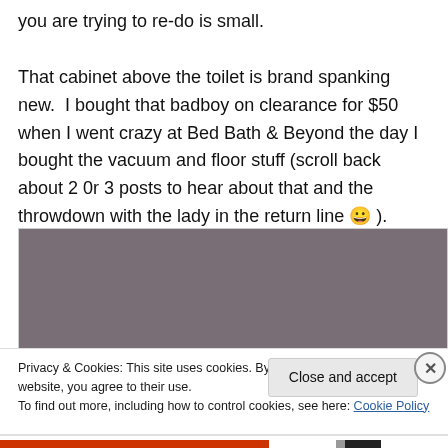you are trying to re-do is small.

That cabinet above the toilet is brand spanking new.  I bought that badboy on clearance for $50 when I went crazy at Bed Bath & Beyond the day I bought the vacuum and floor stuff (scroll back about 2 0r 3 posts to hear about that and the throwdown with the lady in the return line 😀 ).
[Figure (photo): A photo with a grayish-purple/muted mauve colored upper portion, partially visible, likely a bathroom or room photo being cut off by a cookie consent overlay.]
Privacy & Cookies: This site uses cookies. By continuing to use this website, you agree to their use.
To find out more, including how to control cookies, see here: Cookie Policy